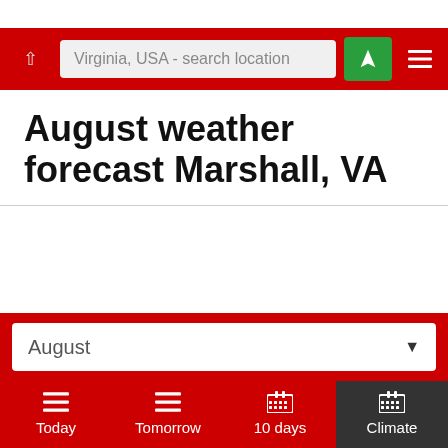Virginia, USA - search location
August weather forecast Marshall, VA
[Figure (screenshot): Month selector dropdown showing 'August' with a down arrow, on a red background]
[Figure (screenshot): Navigation tab bar with four tabs: Today, Tomorrow, 10 days, Climate (active/selected)]